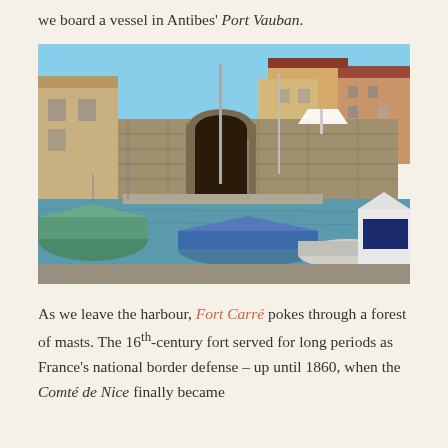we board a vessel in Antibes' Port Vauban.
[Figure (photo): Harbour scene at Port Vauban, Antibes. Several boats moored in the foreground including a boat with a blue cover. Behind them is an old stone wall with an arched gateway. Mediterranean-style buildings visible above the wall, with a blue sky.]
As we leave the harbour, Fort Carré pokes through a forest of masts. The 16th-century fort served for long periods as France's national border defense – up until 1860, when the Comté de Nice finally became